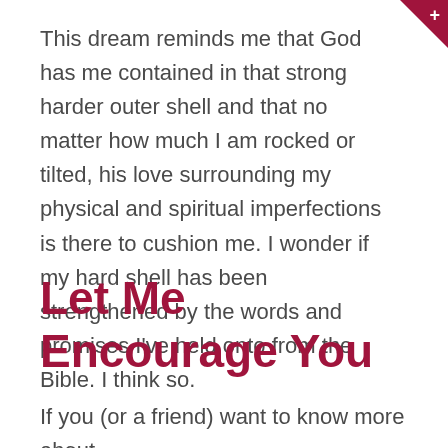This dream reminds me that God has me contained in that strong harder outer shell and that no matter how much I am rocked or tilted, his love surrounding my physical and spiritual imperfections is there to cushion me. I wonder if my hard shell has been strengthened by the words and promises I've held onto from the Bible. I think so.
Let Me Encourage You
If you (or a friend) want to know more about